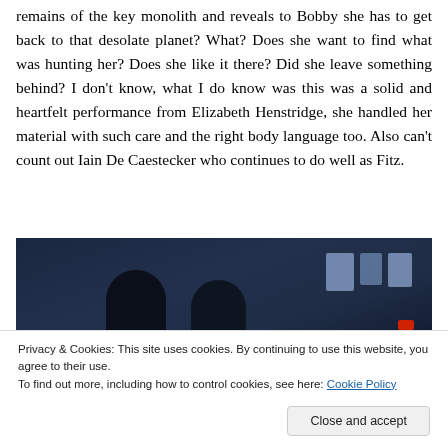remains of the key monolith and reveals to Bobby she has to get back to that desolate planet? What? Does she want to find what was hunting her? Does she like it there? Did she leave something behind? I don't know, what I do know was this was a solid and heartfelt performance from Elizabeth Henstridge, she handled her material with such care and the right body language too. Also can't count out Iain De Caestecker who continues to do well as Fitz.
[Figure (photo): Dark scene showing silhouetted figures in front of glowing blue/white screens in a dimly lit room]
Privacy & Cookies: This site uses cookies. By continuing to use this website, you agree to their use.
To find out more, including how to control cookies, see here: Cookie Policy